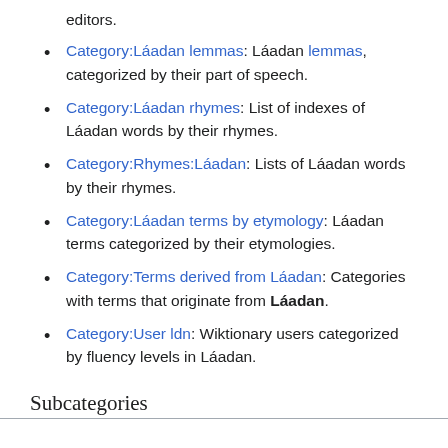editors.
Category:Láadan lemmas: Láadan lemmas, categorized by their part of speech.
Category:Láadan rhymes: List of indexes of Láadan words by their rhymes.
Category:Rhymes:Láadan: Lists of Láadan words by their rhymes.
Category:Láadan terms by etymology: Láadan terms categorized by their etymologies.
Category:Terms derived from Láadan: Categories with terms that originate from Láadan.
Category:User ldn: Wiktionary users categorized by fluency levels in Láadan.
Subcategories